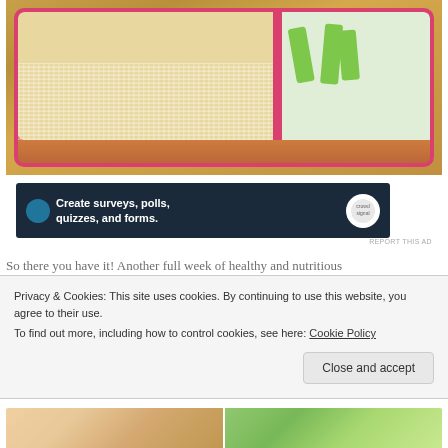[Figure (photo): A pink bento lunchbox containing rice with chicken/protein on the left side and green celery sticks on the right side, photographed from above on a wooden surface.]
[Figure (screenshot): Advertisement banner with dark navy background reading 'Create surveys, polls, quizzes, and forms.' with WordPress and CrowdSignal logos.]
REPORT THIS AD
So there you have it! Another full week of healthy and nutritious
Privacy & Cookies: This site uses cookies. By continuing to use this website, you agree to their use.
To find out more, including how to control cookies, see here: Cookie Policy
Close and accept
[Figure (photo): Bottom strip showing two partial food photos side by side.]